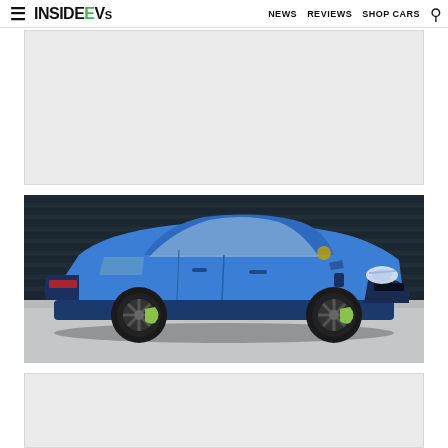InsideEVs — NEWS  REVIEWS  SHOP CARS
[Figure (other): Gray advertisement placeholder block]
[Figure (photo): Blue Porsche Panamera 4 E-Hybrid plug-in hybrid electric vehicle parked in front of a dark corrugated metal wall, shown from a front three-quarter angle. The car features a sapphire blue exterior, black multi-spoke wheels with bright green brake calipers, and a sporty fastback sedan body style.]
[Figure (other): Gray advertisement placeholder block]